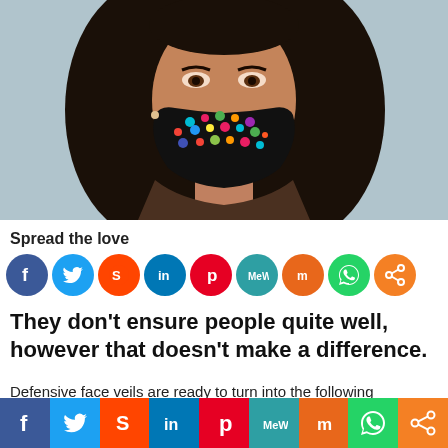[Figure (photo): A woman wearing a colorful embroidered black face mask, with long black hair, photographed from the shoulders up against a blurred background.]
Spread the love
[Figure (infographic): Row of social media share icons: Facebook, Twitter, Reddit, LinkedIn, Pinterest, MeWe, Mix, WhatsApp, Share]
They don’t ensure people quite well, however that doesn’t make a difference.
Defensive face veils are ready to turn into the following significant wellbeing pattern. This potential is on account of our inexorably
[Figure (infographic): Bottom bar with social media icons: Facebook, Twitter, Reddit, LinkedIn, Pinterest, MeWe, Mix, WhatsApp, Share]